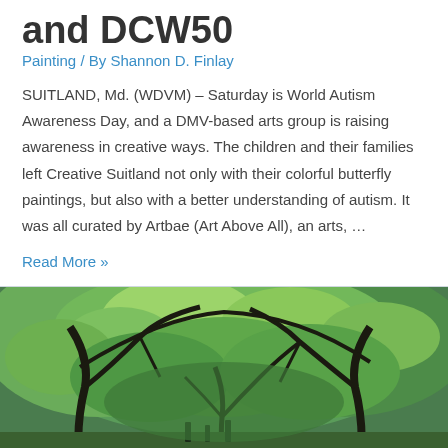and DCW50
Painting / By Shannon D. Finlay
SUITLAND, Md. (WDVM) – Saturday is World Autism Awareness Day, and a DMV-based arts group is raising awareness in creative ways. The children and their families left Creative Suitland not only with their colorful butterfly paintings, but also with a better understanding of autism. It was all curated by Artbae (Art Above All), an arts, …
Read More »
[Figure (photo): A painting of trees with lush green foliage and dark twisted branches, impressionistic style]